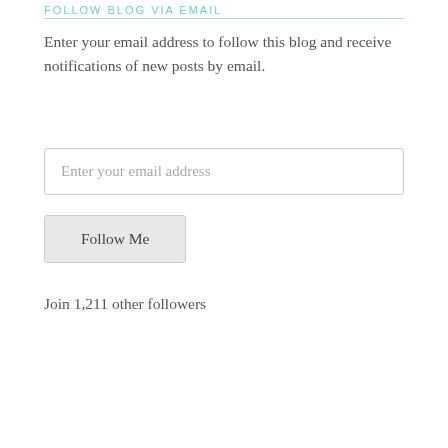FOLLOW BLOG VIA EMAIL
Enter your email address to follow this blog and receive notifications of new posts by email.
[Figure (other): Email input field with placeholder text 'Enter your email address']
[Figure (other): Follow Me button]
Join 1,211 other followers